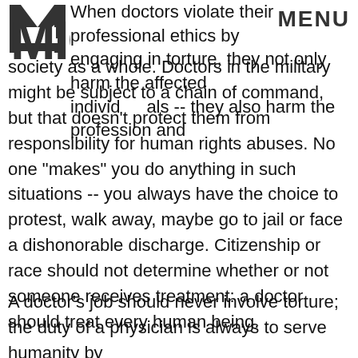MIC | MENU
When doctors violate their professional ethics by engaging in torture, they not only harm the affected individuals -- they also harm the profession and society as a whole. Doctors in the military might be subject to a chain of command, but that doesn’t protect them from responsibility for human rights abuses. No one “makes” you do anything in such situations -- you always have the choice to protest, walk away, maybe go to jail or face a dishonorable discharge. Citizenship or race should not determine whether or not someone receives treatment: a doctor should treat every human being.
A doctor’s job should never involve torture; the duty of a physician is always to serve humanity by